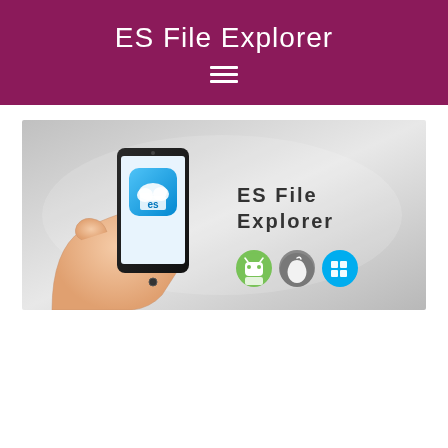ES File Explorer
[Figure (illustration): ES File Explorer banner image showing a hand holding a smartphone with the ES File Explorer app icon (blue folder with cloud), the text 'ES File Explorer' in large letters, and platform icons for Android, Apple iOS, and Windows below the text. The background is a light grey gradient.]